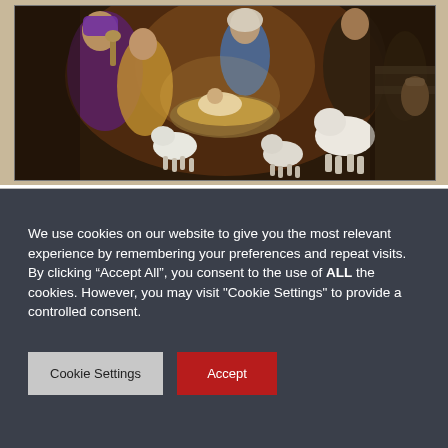[Figure (illustration): Nativity scene painting showing the baby Jesus in a manger surrounded by the Virgin Mary, wise men or shepherds wearing robes and head coverings, and several white lambs. The scene is painted in warm, rich colors with dark backgrounds typical of classical religious art.]
We use cookies on our website to give you the most relevant experience by remembering your preferences and repeat visits. By clicking “Accept All”, you consent to the use of ALL the cookies. However, you may visit "Cookie Settings" to provide a controlled consent.